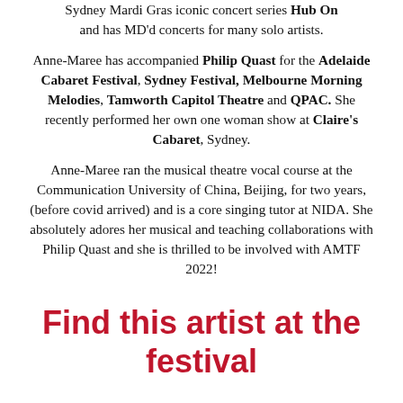Sydney Mardi Gras iconic concert series Hub On and has MD'd concerts for many solo artists.
Anne-Maree has accompanied Philip Quast for the Adelaide Cabaret Festival, Sydney Festival, Melbourne Morning Melodies, Tamworth Capitol Theatre and QPAC. She recently performed her own one woman show at Claire's Cabaret, Sydney.
Anne-Maree ran the musical theatre vocal course at the Communication University of China, Beijing, for two years, (before covid arrived) and is a core singing tutor at NIDA. She absolutely adores her musical and teaching collaborations with Philip Quast and she is thrilled to be involved with AMTF 2022!
Find this artist at the festival